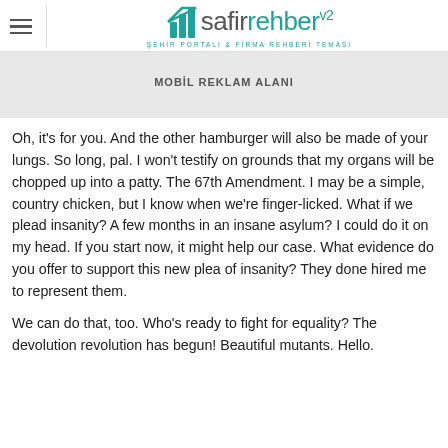safirrehberv2 — ŞEHİR PORTALI & FİRMA REHBERİ TEMASI
MOBİL REKLAM ALANI
Oh, it's for you. And the other hamburger will also be made of your lungs. So long, pal. I won't testify on grounds that my organs will be chopped up into a patty. The 67th Amendment. I may be a simple, country chicken, but I know when we're finger-licked. What if we plead insanity? A few months in an insane asylum? I could do it on my head. If you start now, it might help our case. What evidence do you offer to support this new plea of insanity? They done hired me to represent them.
We can do that, too. Who's ready to fight for equality? The devolution revolution has begun! Beautiful mutants. Hello.